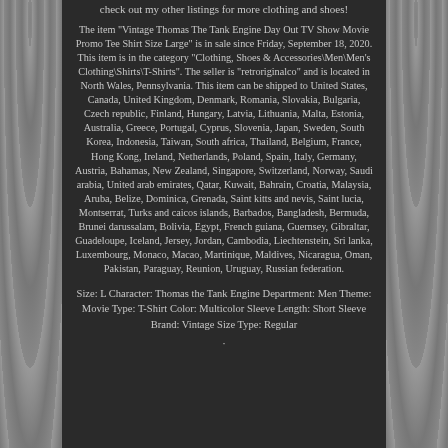check out my other listings for more clothing and shoes!
The item "Vintage Thomas The Tank Engine Day Out TV Show Movie Promo Tee Shirt Size Large" is in sale since Friday, September 18, 2020. This item is in the category "Clothing, Shoes & Accessories\Men\Men's Clothing\Shirts\T-Shirts". The seller is "retroriginalco" and is located in North Wales, Pennsylvania. This item can be shipped to United States, Canada, United Kingdom, Denmark, Romania, Slovakia, Bulgaria, Czech republic, Finland, Hungary, Latvia, Lithuania, Malta, Estonia, Australia, Greece, Portugal, Cyprus, Slovenia, Japan, Sweden, South Korea, Indonesia, Taiwan, South africa, Thailand, Belgium, France, Hong Kong, Ireland, Netherlands, Poland, Spain, Italy, Germany, Austria, Bahamas, New Zealand, Singapore, Switzerland, Norway, Saudi arabia, United arab emirates, Qatar, Kuwait, Bahrain, Croatia, Malaysia, Aruba, Belize, Dominica, Grenada, Saint kitts and nevis, Saint lucia, Montserrat, Turks and caicos islands, Barbados, Bangladesh, Bermuda, Brunei darussalam, Bolivia, Egypt, French guiana, Guernsey, Gibraltar, Guadeloupe, Iceland, Jersey, Jordan, Cambodia, Liechtenstein, Sri lanka, Luxembourg, Monaco, Macao, Martinique, Maldives, Nicaragua, Oman, Pakistan, Paraguay, Reunion, Uruguay, Russian federation.
Size: L Character: Thomas the Tank Engine Department: Men Theme: Movie Type: T-Shirt Color: Multicolor Sleeve Length: Short Sleeve Brand: Vintage Size Type: Regular